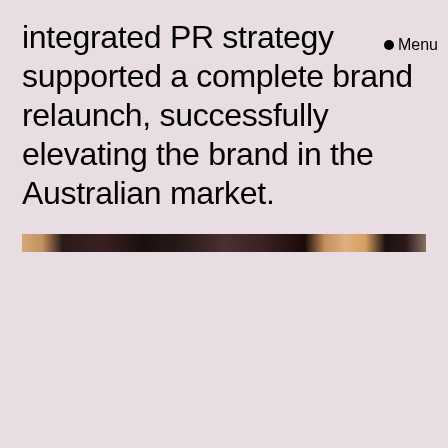integrated PR strategy supported a complete brand relaunch, successfully elevating the brand in the Australian market.
Menu
[Figure (photo): A narrow horizontal strip of a photograph showing people or figures, cropped to a thin band.]